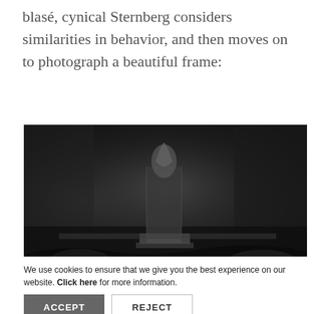blasé, cynical Sternberg considers similarities in behavior, and then moves on to photograph a beautiful frame:
[Figure (screenshot): Black and white film still showing a dark, moody scene with a figure or statue-like form in the center against a shadowy background, partially overlaid by a MUBI advertisement banner reading 'STREAM BEAUTIFUL CINEMA.']
We use cookies to ensure that we give you the best experience on our website. Click here for more information.
ACCEPT   REJECT